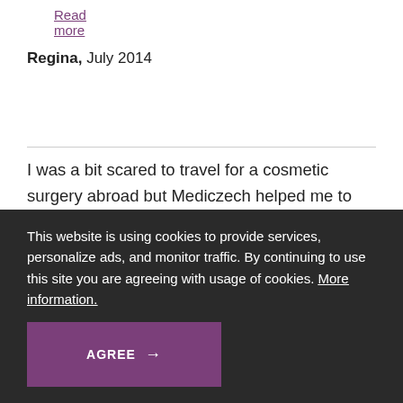Read more
Regina, July 2014
I was a bit scared to travel for a cosmetic surgery abroad but Mediczech helped me to feel welcomed and comfortable. Very professional, friendly attitude at the reception and from the clinic staff.
This website is using cookies to provide services, personalize ads, and monitor traffic. By continuing to use this site you are agreeing with usage of cookies. More information.